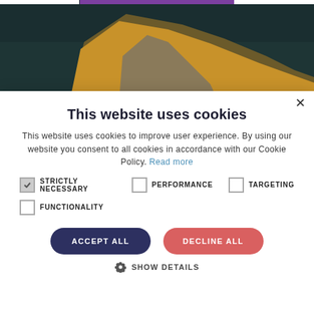[Figure (photo): Scenic landscape photo showing a rocky cliff with dry golden grass and dark teal water/sea in the background. A purple bar is visible at the top center of the image.]
This website uses cookies
This website uses cookies to improve user experience. By using our website you consent to all cookies in accordance with our Cookie Policy. Read more
STRICTLY NECESSARY
PERFORMANCE
TARGETING
FUNCTIONALITY
ACCEPT ALL
DECLINE ALL
SHOW DETAILS